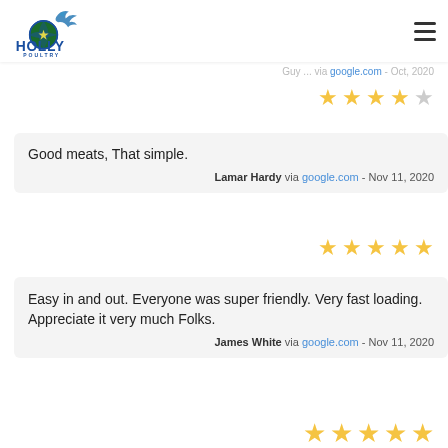Holly Poultry logo and navigation menu
Guy ... via google.com - Oct, 2020 (partial, cut off)
4 stars rating
Good meats, That simple.
Lamar Hardy via google.com - Nov 11, 2020
5 stars rating
Easy in and out. Everyone was super friendly. Very fast loading. Appreciate it very much Folks.
James White via google.com - Nov 11, 2020
Stars (partial, cut off at bottom)